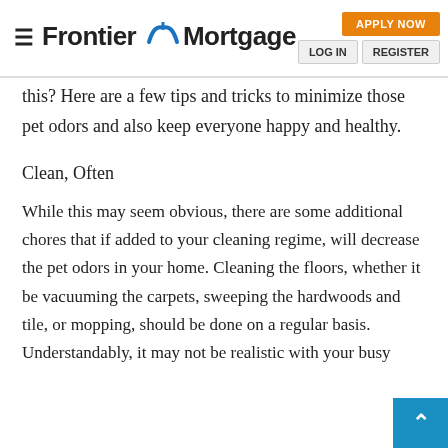Frontier Mortgage — APPLY NOW | LOG IN | REGISTER
this? Here are a few tips and tricks to minimize those pet odors and also keep everyone happy and healthy.
Clean, Often
While this may seem obvious, there are some additional chores that if added to your cleaning regime, will decrease the pet odors in your home. Cleaning the floors, whether it be vacuuming the carpets, sweeping the hardwoods and tile, or mopping, should be done on a regular basis. Understandably, it may not be realistic with your busy